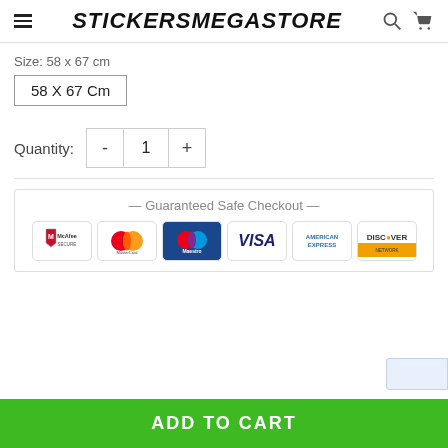STICKERSMEGASTORE
Size: 58 x 67 cm
58 X 67 Cm
Quantity: 1
[Figure (screenshot): Guaranteed Safe Checkout section with payment logos: McAfee Secure, MasterCard, Maestro, VISA, American Express, Discover Network]
ADD TO CART